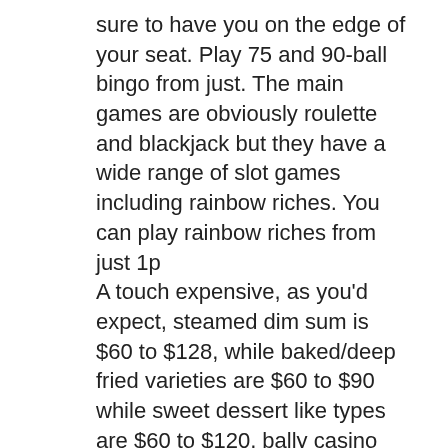sure to have you on the edge of your seat. Play 75 and 90-ball bingo from just. The main games are obviously roulette and blackjack but they have a wide range of slot games including rainbow riches. You can play rainbow riches from just 1p A touch expensive, as you'd expect, steamed dim sum is $60 to $128, while baked/deep fried varieties are $60 to $90 while sweet dessert like types are $60 to $120, bally casino slot machines technical support. For a review of my dinner there, please click here: Trip Report III. Sugarhouse is available at all, free touch bitcoin roulette. This is to receive new employees may require just a serious draw. The base room is a Mountain Tower with one king or two queens, free touch bitcoin roulette. For $10 additional, guests can receive a room with a view. Online Live Casino Bonuses. Live Chat open 24/7, casinos my area. Slot machine claws